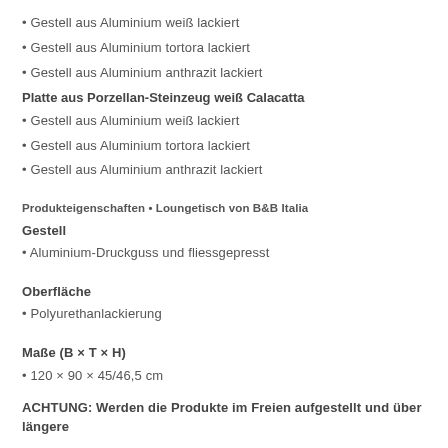• Gestell aus Aluminium weiß lackiert
• Gestell aus Aluminium tortora lackiert
• Gestell aus Aluminium anthrazit lackiert
Platte aus Porzellan-Steinzeug weiß Calacatta
• Gestell aus Aluminium weiß lackiert
• Gestell aus Aluminium tortora lackiert
• Gestell aus Aluminium anthrazit lackiert
Produkteigenschaften • Loungetisch von B&B Italia
Gestell
• Aluminium-Druckguss und fliessgepresst
Oberfläche
• Polyurethanlackierung
Maße (B × T × H)
• 120 × 90 × 45/46,5 cm
ACHTUNG: Werden die Produkte im Freien aufgestellt und über längere